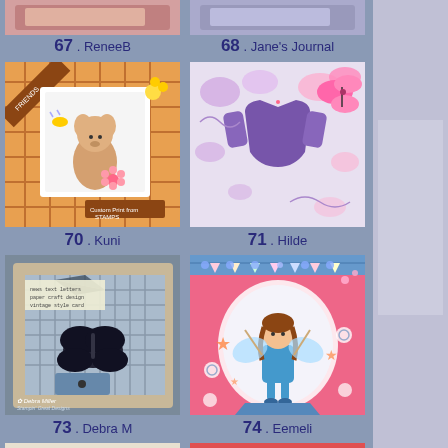[Figure (photo): Partial top of craft card 67 ReneeB]
67 . ReneeB
[Figure (photo): Craft card 70 Kuni - handmade card with mouse and bee illustration]
70 . Kuni
[Figure (photo): Craft card 73 Debra M - vintage style card with black butterfly]
73 . Debra M
[Figure (photo): Partial bottom craft card]
[Figure (photo): Partial top of craft card 68 Jane's Journal]
68 . Jane's Journal
[Figure (photo): Craft card 71 Hilde - butterfly themed card in purple and pink]
71 . Hilde
[Figure (photo): Craft card 74 Eemeli - fairy girl on swing in pink]
74 . Eemeli
[Figure (photo): Partial bottom craft card]